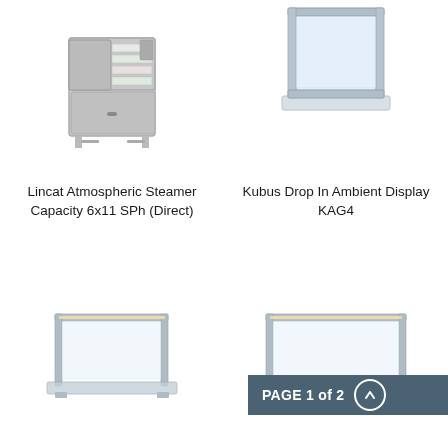[Figure (photo): Lincat Atmospheric Steamer, stainless steel upright unit with open door showing trays inside]
[Figure (photo): Kubus Drop In Ambient Display KAG4, clear acrylic display unit with metal frame]
Lincat Atmospheric Steamer Capacity 6x11 SPh (Direct)
Kubus Drop In Ambient Display KAG4
[Figure (photo): Drop-in display unit with metal frame and clear glass, single tier, compact version]
[Figure (photo): Drop-in display unit with metal frame and clear glass, single tier, wider version]
PAGE 1 of 2